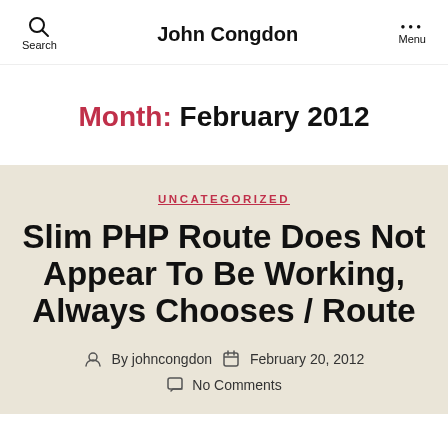John Congdon
Month: February 2012
UNCATEGORIZED
Slim PHP Route Does Not Appear To Be Working, Always Chooses / Route
By johncongdon  February 20, 2012
No Comments